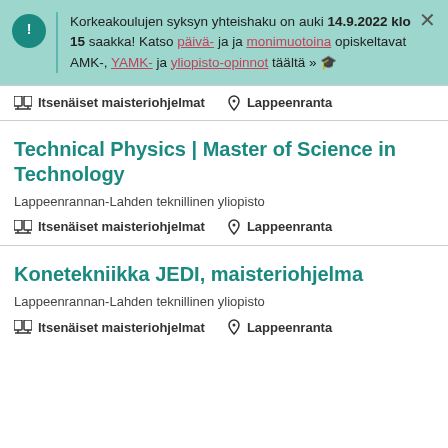Korkeakoulujen syksyn yhteishaku on auki 14.9.2022 klo 15 saakka! Katso päivä- ja ja monimuotoina opiskeltavat AMK-, YAMK- ja yliopisto-opinnot täältä »
Itsenäiset maisteriohjelmat   Lappeenranta
Technical Physics | Master of Science in Technology
Lappeenrannan-Lahden teknillinen yliopisto
Itsenäiset maisteriohjelmat   Lappeenranta
Konetekniikka JEDI, maisteriohjelma
Lappeenrannan-Lahden teknillinen yliopisto
Itsenäiset maisteriohjelmat   Lappeenranta